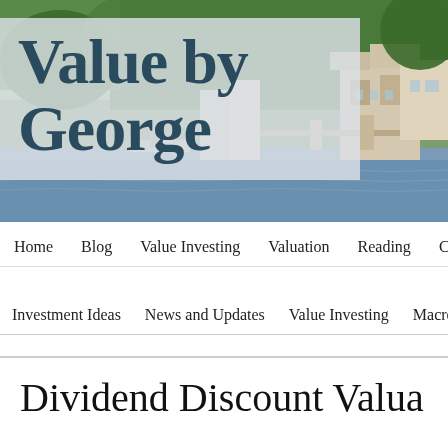[Figure (photo): Coastal New England harbor scene with colorful waterfront houses and water, used as the website header background image]
Value by George
Home   Blog   Value Investing   Valuation   Reading   Conta
Investment Ideas   News and Updates   Value Investing   Macroecon
Dividend Discount Valua